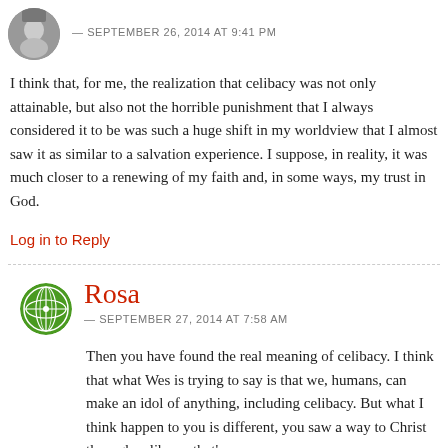[Figure (photo): Circular avatar photo of a person (partial, top of head and face visible) at top left]
— SEPTEMBER 26, 2014 AT 9:41 PM
I think that, for me, the realization that celibacy was not only attainable, but also not the horrible punishment that I always considered it to be was such a huge shift in my worldview that I almost saw it as similar to a salvation experience. I suppose, in reality, it was much closer to a renewing of my faith and, in some ways, my trust in God.
Log in to Reply
[Figure (illustration): Circular avatar icon with green grid/globe pattern for user Rosa]
Rosa
— SEPTEMBER 27, 2014 AT 7:58 AM
Then you have found the real meaning of celibacy. I think that what Wes is trying to say is that we, humans, can make an idol of anything, including celibacy. But what I think happen to you is different, you saw a way to Christ through celibacy, that's